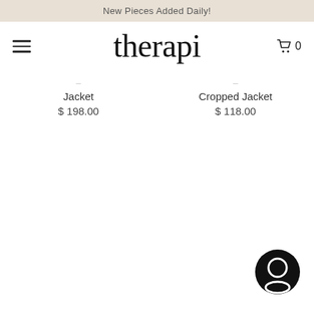New Pieces Added Daily!
therapi
Jacket
$ 198.00
Cropped Jacket
$ 118.00